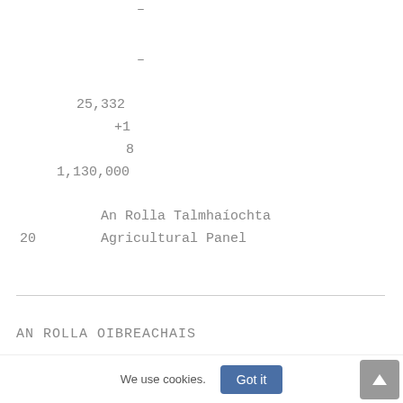–
–
25,332
+1
8
1,130,000
An Rolla Talmhaíochta
20        Agricultural Panel
AN ROLLA OIBREACHAIS
We use cookies.